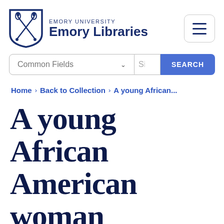[Figure (logo): Emory University shield logo with crossed torches, dark blue outline, alongside text 'EMORY UNIVERSITY Emory Libraries']
[Figure (other): Hamburger menu button with three horizontal lines inside a rounded rectangle border]
[Figure (other): Search bar with 'Common Fields' dropdown, a search input field, and a blue 'SEARCH' button]
Home › Back to Collection › A young African...
A young African American woman wearing a dress seated on a bench